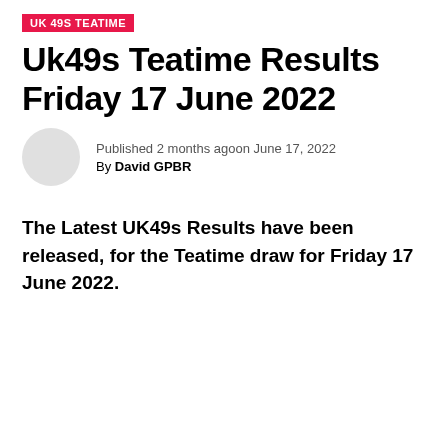UK 49S TEATIME
Uk49s Teatime Results Friday 17 June 2022
Published 2 months agoon June 17, 2022
By David GPBR
The Latest UK49s Results have been released, for the Teatime draw for Friday 17 June 2022.